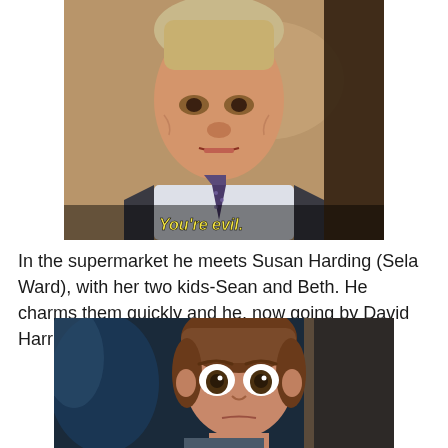[Figure (photo): An older man in a dark suit and patterned tie looking slightly to the side, with subtitle text 'You're evil.' overlaid in yellow at the bottom of the image.]
In the supermarket he meets Susan Harding (Sela Ward), with her two kids-Sean and Beth. He charms them quickly and he, now going by David Harris, and Susan begin a relationship.
[Figure (photo): An animated character (young man with brown hair) looking forward with a concerned expression, in a dark environment with blue-tinted foliage in the background.]